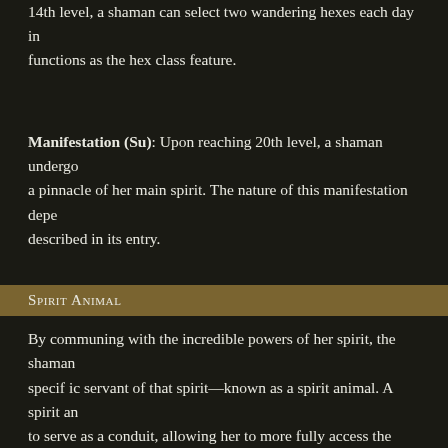14th level, a shaman can select two wandering hexes each day in... functions as the hex class feature.
Manifestation (Su): Upon reaching 20th level, a shaman undergo... a pinnacle of her main spirit. The nature of this manifestation depe... described in its entry.
Spirit Animal
By communing with the incredible powers of her spirit, the shaman... specif ic servant of that spirit—known as a spirit animal. A spirit an... to serve as a conduit, allowing her to more fully access the magic... shaman's spirit animal also grants her special powers. This ability... arcane bond class feature and is treated as a familiar (see pages... except as noted below.
A shaman uses her level as her effective wizard level when determ... shaman can select any familiar available to wizards to serve as he... is augmented by the power of her chosen spirit. Once selected, th... Although a shaman's spirit animal uses the statistics of a specific...